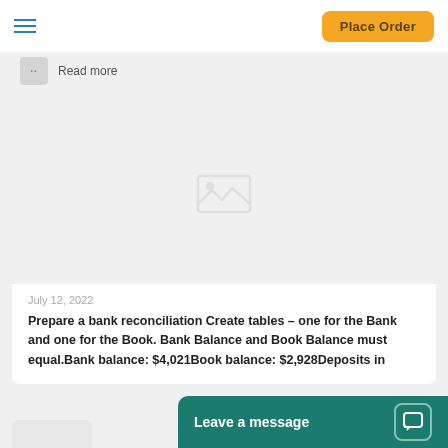Place Order
Read more
[Figure (photo): Image placeholder with broken image icon on a light grey background]
July 12, 2022
Prepare a bank reconciliation Create tables – one for the Bank and one for the Book. Bank Balance and Book Balance must equal.Bank balance: $4,021Book balance: $2,928Deposits in
Leave a message